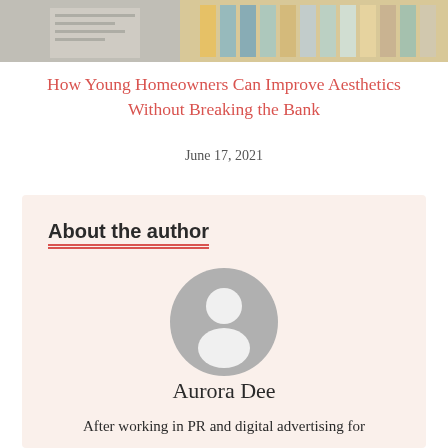[Figure (photo): Top portion of a photo showing architectural blueprints and colorful paint or material swatches]
How Young Homeowners Can Improve Aesthetics Without Breaking the Bank
June 17, 2021
About the author
[Figure (illustration): Generic grey user avatar icon showing a silhouette of a person]
Aurora Dee
After working in PR and digital advertising for